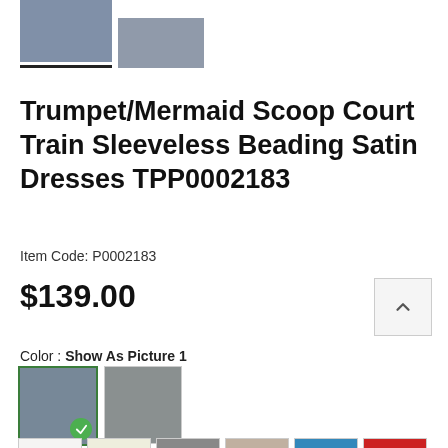[Figure (photo): Two small thumbnail images of models wearing dark dresses, first thumbnail has an underline indicator showing it is selected]
Trumpet/Mermaid Scoop Court Train Sleeveless Beading Satin Dresses TPP0002183
Item Code: P0002183
$139.00
Color : Show As Picture 1
[Figure (photo): Color selection swatches showing two larger dress photo options (first selected with green checkmark) and two rows of color fabric swatches: white, ivory, champagne, pink, green, teal, brown, navy, blush, hot pink in first row, and partial second row below]